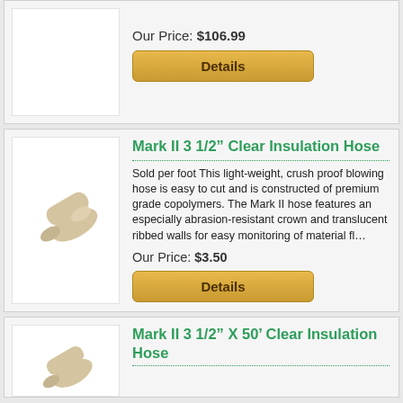Our Price: $106.99
Details
Mark II 3 1/2” Clear Insulation Hose
Sold per foot This light-weight, crush proof blowing hose is easy to cut and is constructed of premium grade copolymers. The Mark II hose features an especially abrasion-resistant crown and translucent ribbed walls for easy monitoring of material fl...
Our Price: $3.50
Details
Mark II 3 1/2” X 50’ Clear Insulation Hose